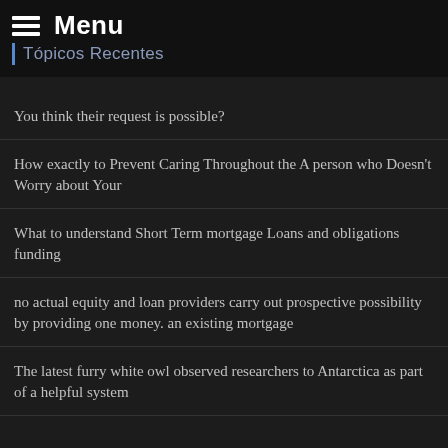Menu
Tópicos Recentes
You think their request is possible?
How exactly to Prevent Caring Throughout the A person who Doesn't Worry about Your
What to understand Short Term mortgage Loans and obligations funding
no actual equity and loan providers carry out prospective possibility by providing one money. an existing mortgage
The latest furry white owl observed researchers to Antarctica as part of a helpful system